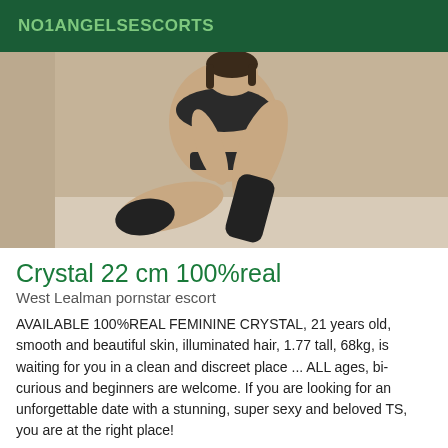NO1ANGELSESCORTS
[Figure (photo): A woman in dark lingerie and black thigh-high stockings sitting on a light-colored floor, photographed against a white wall.]
Crystal 22 cm 100%real
West Lealman pornstar escort
AVAILABLE 100%REAL FEMININE CRYSTAL, 21 years old, smooth and beautiful skin, illuminated hair, 1.77 tall, 68kg, is waiting for you in a clean and discreet place ... ALL ages, bi-curious and beginners are welcome. If you are looking for an unforgettable date with a stunning, super sexy and beloved TS, you are at the right place!